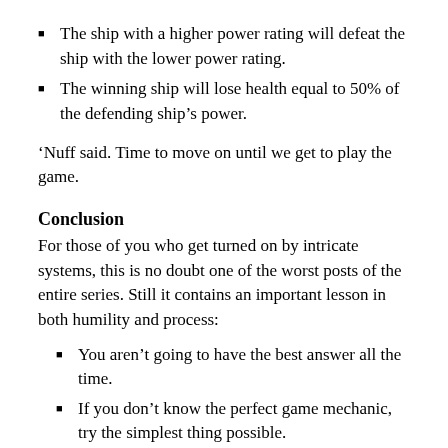The ship with a higher power rating will defeat the ship with the lower power rating.
The winning ship will lose health equal to 50% of the defending ship’s power.
‘Nuff said. Time to move on until we get to play the game.
Conclusion
For those of you who get turned on by intricate systems, this is no doubt one of the worst posts of the entire series. Still it contains an important lesson in both humility and process:
You aren’t going to have the best answer all the time.
If you don’t know the perfect game mechanic, try the simplest thing possible.